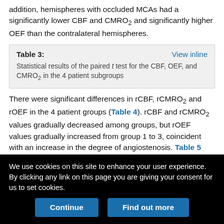addition, hemispheres with occluded MCAs had a significantly lower CBF and CMRO2 and significantly higher OEF than the contralateral hemispheres.
Table 3: Statistical results of the paired t test for the CBF, OEF, and CMRO2 in the 4 patient subgroups
There were significant differences in rCBF, rCMRO2 and rOEF in the 4 patient groups (Table 4). rCBF and rCMRO2 values gradually decreased among groups, but rOEF values gradually increased from group 1 to 3, coincident with an increase in the degree of angiostenosis. Table 5 lists the Student-Newman-Keuls results comparing the lesion-to-normal ratios in the 4 patient groups.
We use cookies on this site to enhance your user experience. By clicking any link on this page you are giving your consent for us to set cookies.